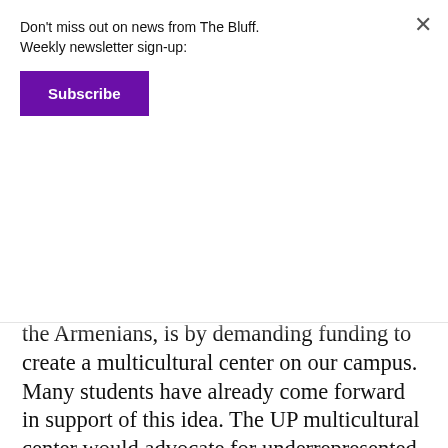Don't miss out on news from The Bluff. Weekly newsletter sign-up:
Subscribe
the Armenians, is by demanding funding to create a multicultural center on our campus. Many students have already come forward in support of this idea. The UP multicultural center would advocate for underrepresented students, it would sustain a variety of meaningful dialogues, and it would host events that explore the intersectional and multicultural identities that help to make UP what it is. Only when there is a tangible and open space for our diverse student population to come